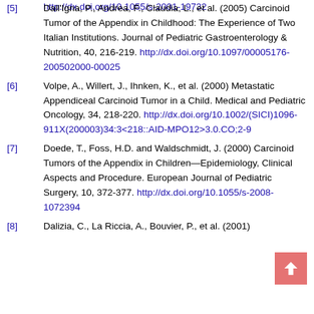http://dx.doi.org/10.1055/s-2001-19732
[5] Dall'Igna, P., Andrea, F., Claudia, L., et al. (2005) Carcinoid Tumor of the Appendix in Childhood: The Experience of Two Italian Institutions. Journal of Pediatric Gastroenterology & Nutrition, 40, 216-219. http://dx.doi.org/10.1097/00005176-200502000-00025
[6] Volpe, A., Willert, J., Ihnken, K., et al. (2000) Metastatic Appendiceal Carcinoid Tumor in a Child. Medical and Pediatric Oncology, 34, 218-220. http://dx.doi.org/10.1002/(SICI)1096-911X(200003)34:3<218::AID-MPO12>3.0.CO;2-9
[7] Doede, T., Foss, H.D. and Waldschmidt, J. (2000) Carcinoid Tumors of the Appendix in Children—Epidemiology, Clinical Aspects and Procedure. European Journal of Pediatric Surgery, 10, 372-377. http://dx.doi.org/10.1055/s-2008-1072394
[8] Dalizia, C., La Riccia, A., Bouvier, P., et al. (2001)